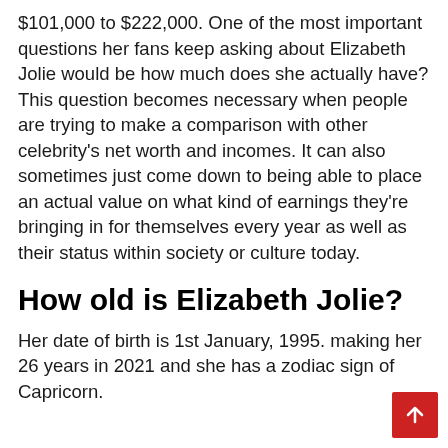$101,000 to $222,000. One of the most important questions her fans keep asking about Elizabeth Jolie would be how much does she actually have? This question becomes necessary when people are trying to make a comparison with other celebrity's net worth and incomes. It can also sometimes just come down to being able to place an actual value on what kind of earnings they're bringing in for themselves every year as well as their status within society or culture today.
How old is Elizabeth Jolie?
Her date of birth is 1st January, 1995. making her 26 years in 2021 and she has a zodiac sign of Capricorn.